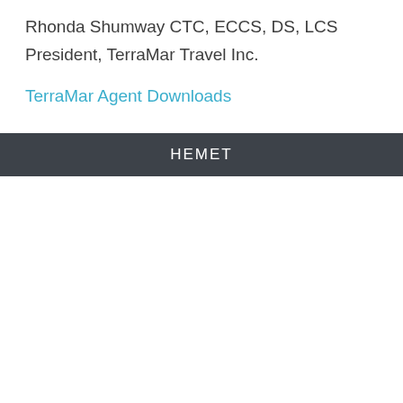Rhonda Shumway CTC, ECCS, DS, LCS
President, TerraMar Travel Inc.
TerraMar Agent Downloads
HEMET